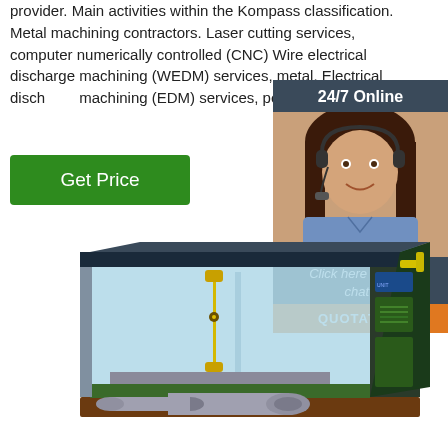provider. Main activities within the Kompass classification. Metal machining contractors. Laser cutting services, computer numerically controlled (CNC) Wire electrical discharge machining (WEDM) services, metal. Electrical discharge machining (EDM) services, penetration,
[Figure (infographic): Green 'Get Price' button]
[Figure (infographic): 24/7 Online chat widget with woman wearing headset, 'Click here for free chat!' text, and orange QUOTATION button]
[Figure (engineering-diagram): 3D cutaway/cross-section engineering diagram of a wire EDM machine showing internal components including glass panels, wire, workpiece, and mechanical structure in blue, green, yellow and grey colors]